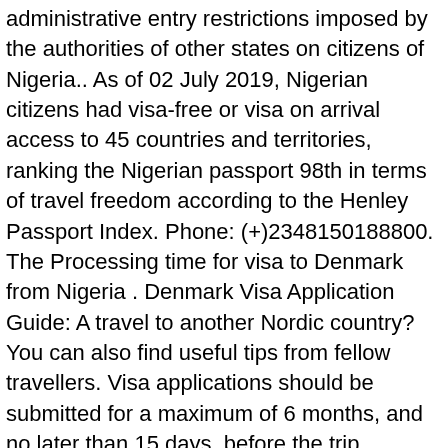administrative entry restrictions imposed by the authorities of other states on citizens of Nigeria.. As of 02 July 2019, Nigerian citizens had visa-free or visa on arrival access to 45 countries and territories, ranking the Nigerian passport 98th in terms of travel freedom according to the Henley Passport Index. Phone: (+)2348150188800. The Processing time for visa to Denmark from Nigeria . Denmark Visa Application Guide: A travel to another Nordic country? You can also find useful tips from fellow travellers. Visa applications should be submitted for a maximum of 6 months, and no later than 15 days, before the trip. Address: Denmark Visa Application Center Plot 110, Admiral Ayinla Way, Opposite Treasure Garden Estate, Third Roundabout, Lekki Phase I – Lagos. Re: Denmark Visa by osites(m): 12:17am On Dec 10, 2011 the Danish embassy is in Cotonou, you will need a shengen visa to possibly vist denmark. However, this period could be extended due to the requirements of the visa application visa application centres Lagos. With a period of 90 days D visa in Abuja or Lagos centre